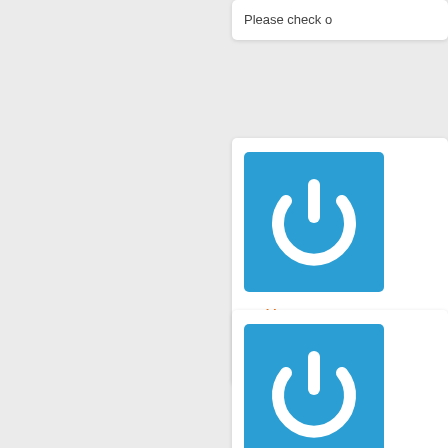Please check o
[Figure (logo): Blue square power button icon with white power symbol and circular arrow]
seeking sugar
I like reading a Also, many tha
[Figure (logo): Blue square power button icon with white power symbol and circular arrow]
www.europea
www.europea balance of nat balance of nat